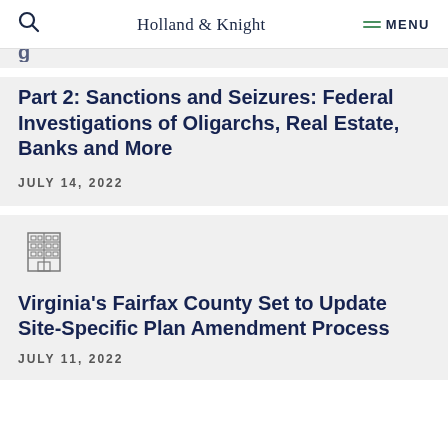Holland & Knight | MENU
Part 2: Sanctions and Seizures: Federal Investigations of Oligarchs, Real Estate, Banks and More
JULY 14, 2022
[Figure (illustration): Building/real estate icon (outline of a multi-story office building)]
Virginia's Fairfax County Set to Update Site-Specific Plan Amendment Process
JULY 11, 2022